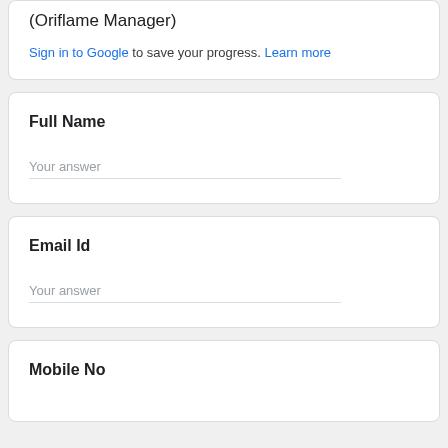(Oriflame Manager)
Sign in to Google to save your progress. Learn more
Full Name
Your answer
Email Id
Your answer
Mobile No